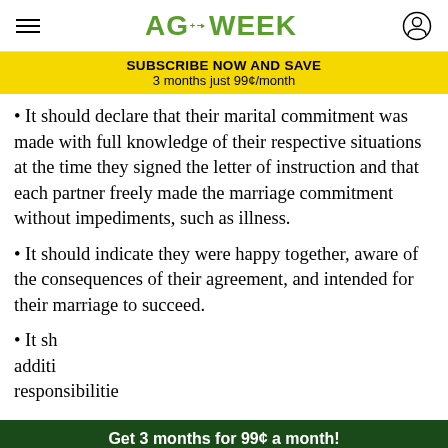AGWEEK
SUBSCRIBE NOW AND SAVE 3 months just 99¢/month
• It should declare that their marital commitment was made with full knowledge of their respective situations at the time they signed the letter of instruction and that each partner freely made the marriage commitment without impediments, such as illness.
• It should indicate they were happy together, aware of the consequences of their agreement, and intended for their marriage to succeed.
• It should recommend how the farmland additional... responsibilities should be distributed if the...
Get 3 months for 99¢ a month! SUBSCRIBE NOW ›